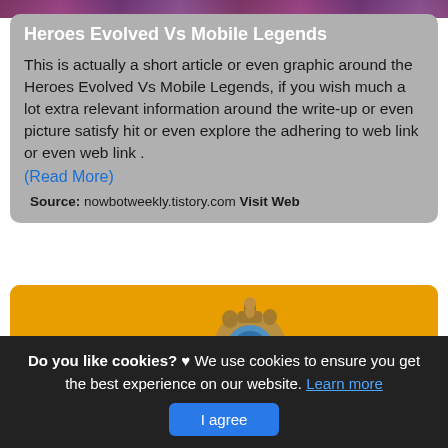[Figure (photo): Partial top strip of a game banner image showing purple/dark tones]
Heroes Evolved Vs Mobile Legends
This is actually a short article or even graphic around the Heroes Evolved Vs Mobile Legends, if you wish much a lot extra relevant information around the write-up or even picture satisfy hit or even explore the adhering to web link or even web link .
(Read More)
Source: nowbotweekly.tistory.com Visit Web
[Figure (illustration): Game characters on a yellow/orange background including a large robot and other fantasy heroes]
Do you like cookies? ♥ We use cookies to ensure you get the best experience on our website. Learn more
I agree